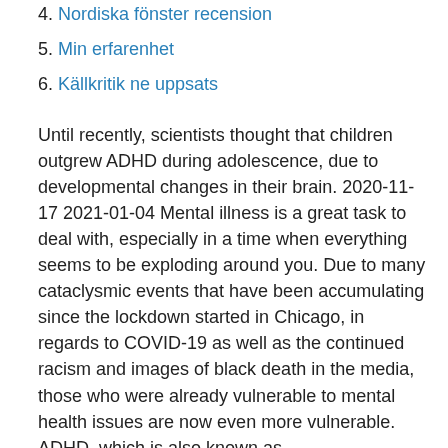4. Nordiska fönster recension
5. Min erfarenhet
6. Källkritik ne uppsats
Until recently, scientists thought that children outgrew ADHD during adolescence, due to developmental changes in their brain. 2020-11-17 2021-01-04 Mental illness is a great task to deal with, especially in a time when everything seems to be exploding around you. Due to many cataclysmic events that have been accumulating since the lockdown started in Chicago, in regards to COVID-19 as well as the continued racism and images of black death in the media, those who were already vulnerable to mental health issues are now even more vulnerable. ADHD, which is also known as